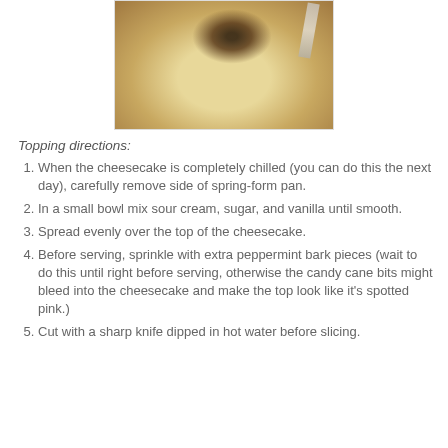[Figure (photo): A bowl of cheesecake mixture with dark peppermint bark pieces being added on top, with a spatula visible in the background.]
Topping directions:
When the cheesecake is completely chilled (you can do this the next day), carefully remove side of spring-form pan.
In a small bowl mix sour cream, sugar, and vanilla until smooth.
Spread evenly over the top of the cheesecake.
Before serving, sprinkle with extra peppermint bark pieces (wait to do this until right before serving, otherwise the candy cane bits might bleed into the cheesecake and make the top look like it's spotted pink.)
Cut with a sharp knife dipped in hot water before slicing.